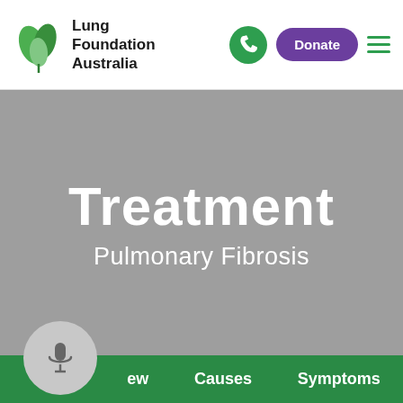[Figure (logo): Lung Foundation Australia logo with green leaf icon and bold text]
Treatment
Pulmonary Fibrosis
ew   Causes   Symptoms